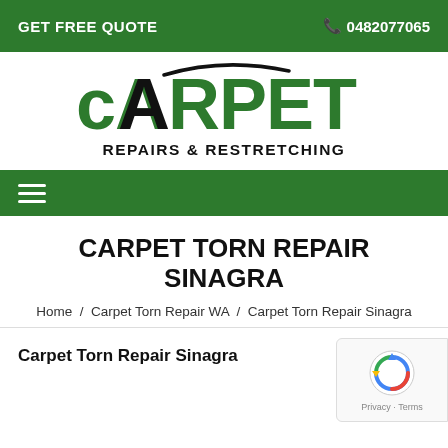GET FREE QUOTE | 0482077065
[Figure (logo): Carpet Repairs & Restretching logo with green CARPET text and black arc above the A]
hamburger menu navigation bar
CARPET TORN REPAIR SINAGRA
Home / Carpet Torn Repair WA / Carpet Torn Repair Sinagra
Carpet Torn Repair Sinagra